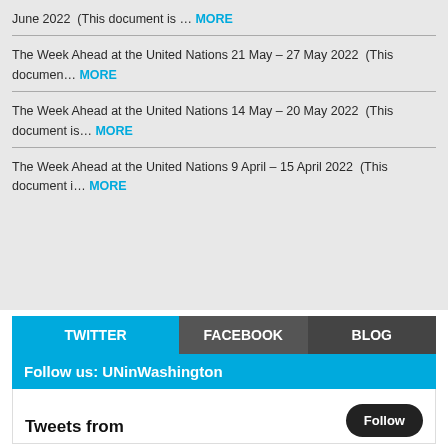June 2022  (This document is … MORE
The Week Ahead at the United Nations 21 May – 27 May 2022  (This documen… MORE
The Week Ahead at the United Nations 14 May – 20 May 2022  (This document is… MORE
The Week Ahead at the United Nations 9 April – 15 April 2022  (This document i… MORE
TWITTER | FACEBOOK | BLOG
Follow us: UNinWashington
Tweets from   Follow